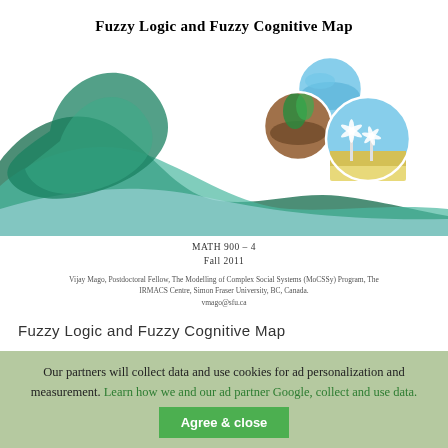Fuzzy Logic and Fuzzy Cognitive Map
[Figure (illustration): Decorative cover image with green and teal wave shapes and three circular images (water/ocean, plant in soil, wind turbines) arranged in the upper right.]
MATH 900 - 4
Fall 2011
Vijay Mago, Postdoctoral Fellow, The Modelling of Complex Social Systems (MoCSSy) Program, The IRMACS Centre, Simon Fraser University, BC, Canada.
vmago@sfu.ca
Fuzzy Logic and Fuzzy Cognitive Map
Our partners will collect data and use cookies for ad personalization and measurement. Learn how we and our ad partner Google, collect and use data.
Agree & close